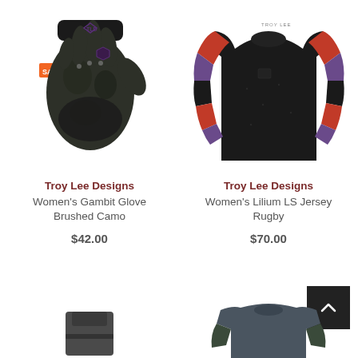[Figure (photo): Troy Lee Designs Women's Gambit Glove in Brushed Camo colorway, black glove with camouflage pattern and orange sale tag]
Troy Lee Designs
Women's Gambit Glove Brushed Camo
$42.00
[Figure (photo): Troy Lee Designs Women's Lilium LS Jersey in Rugby colorway, black long sleeve jersey with red and purple stripe pattern on sleeves]
Troy Lee Designs
Women's Lilium LS Jersey Rugby
$70.00
[Figure (photo): Partial view of another product at bottom left]
[Figure (photo): Partial view of another product at bottom right]